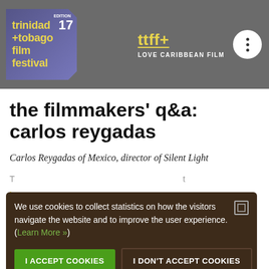trinidad +tobago film festival | Edition 17 | ttff+ | LOVE CARIBBEAN FILM
the filmmakers' q&a: carlos reygadas
Carlos Reygadas of Mexico, director of Silent Light
We use cookies to collect statistics on how the visitors navigate the website and to improve the user experience. (Learn More »)
I ACCEPT COOKIES | I DON'T ACCEPT COOKIES
auteurs